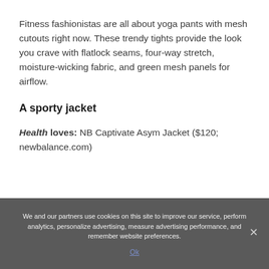Fitness fashionistas are all about yoga pants with mesh cutouts right now. These trendy tights provide the look you crave with flatlock seams, four-way stretch, moisture-wicking fabric, and green mesh panels for airflow.
A sporty jacket
Health loves: NB Captivate Asym Jacket ($120; newbalance.com)
We and our partners use cookies on this site to improve our service, perform analytics, personalize advertising, measure advertising performance, and remember website preferences.
Ok